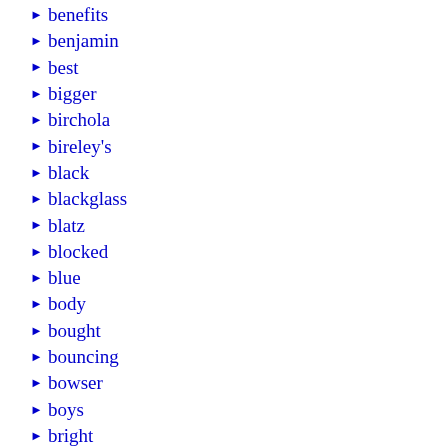benefits
benjamin
best
bigger
birchola
bireley's
black
blackglass
blatz
blocked
blue
body
bought
bouncing
bowser
boys
bright
brooke
budweiser
bugler
build
burgermeister
burgie